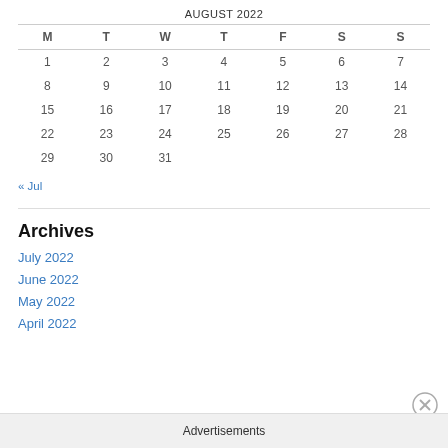AUGUST 2022
| M | T | W | T | F | S | S |
| --- | --- | --- | --- | --- | --- | --- |
| 1 | 2 | 3 | 4 | 5 | 6 | 7 |
| 8 | 9 | 10 | 11 | 12 | 13 | 14 |
| 15 | 16 | 17 | 18 | 19 | 20 | 21 |
| 22 | 23 | 24 | 25 | 26 | 27 | 28 |
| 29 | 30 | 31 |  |  |  |  |
« Jul
Archives
July 2022
June 2022
May 2022
April 2022
Advertisements